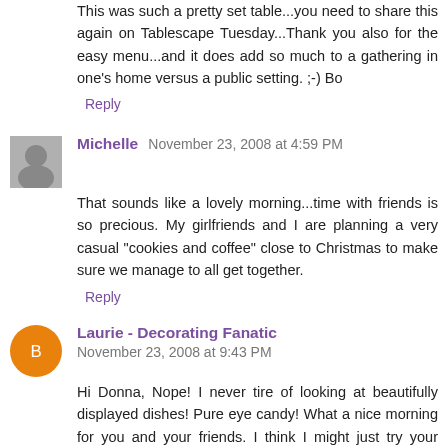This was such a pretty set table...you need to share this again on Tablescape Tuesday...Thank you also for the easy menu...and it does add so much to a gathering in one's home versus a public setting. ;-) Bo
Reply
Michelle  November 23, 2008 at 4:59 PM
That sounds like a lovely morning...time with friends is so precious. My girlfriends and I are planning a very casual "cookies and coffee" close to Christmas to make sure we manage to all get together.
Reply
Laurie - Decorating Fanatic  November 23, 2008 at 9:43 PM
Hi Donna, Nope! I never tire of looking at beautifully displayed dishes! Pure eye candy! What a nice morning for you and your friends. I think I might just try your Eggs Continental for Christmas morning! We always have a few...